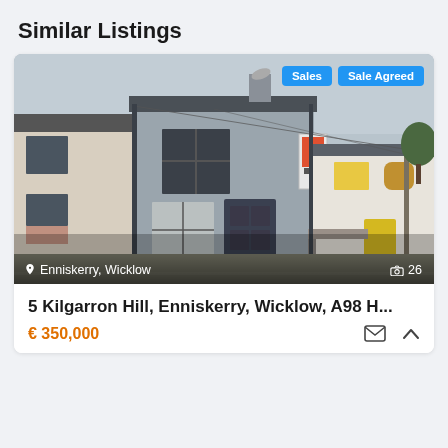Similar Listings
[Figure (photo): Exterior photo of a two-storey terraced house with grey render, grey windows and door, satellite dish on roof, estate agent sign visible. Adjacent properties visible on both sides. Location: Enniskerry, Wicklow. 26 photos indicated.]
5 Kilgarron Hill, Enniskerry, Wicklow, A98 H...
€ 350,000